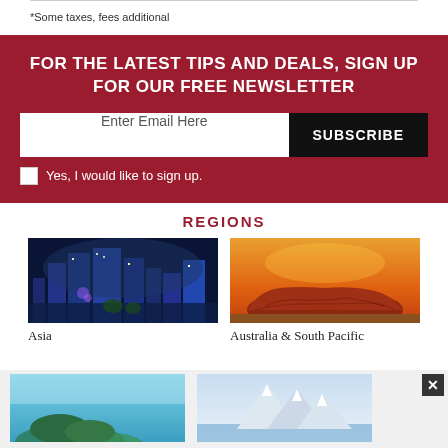*Some taxes, fees additional
FOR THE LATEST TIPS AND DEALS, SIGN UP FOR OUR FREE NEWSLETTER
Enter Email Here  SUBSCRIBE
Yes, I would like to sign up.
REGIONS
[Figure (photo): Nighttime city skyline with Merlion statue, Singapore – Asia region]
Asia
[Figure (photo): Uluru / Ayers Rock at sunset, orange desert landscape – Australia & South Pacific region]
Australia & South Pacific
[Figure (photo): Tropical island coastline with turquoise water]
[Figure (photo): Snow-capped mountain peaks with water in foreground]